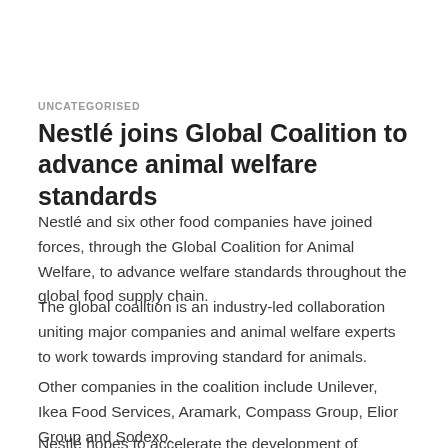UNCATEGORISED
Nestlé joins Global Coalition to advance animal welfare standards
Nestlé and six other food companies have joined forces, through the Global Coalition for Animal Welfare, to advance welfare standards throughout the global food supply chain.
The global coalition is an industry-led collaboration uniting major companies and animal welfare experts to work towards improving standard for animals.
Other companies in the coalition include Unilever, Ikea Food Services, Aramark, Compass Group, Elior Group and Sodexo.
Nestlé hopes to accelerate the development of standards and